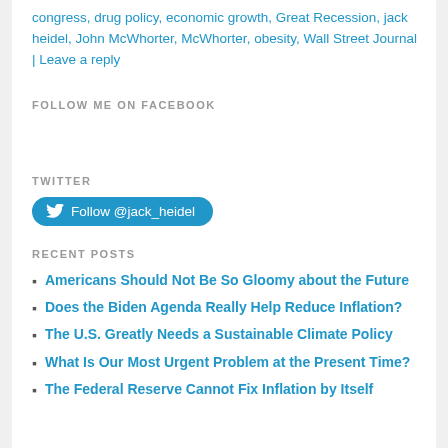congress, drug policy, economic growth, Great Recession, jack heidel, John McWhorter, McWhorter, obesity, Wall Street Journal | Leave a reply
FOLLOW ME ON FACEBOOK
TWITTER
Follow @jack_heidel
RECENT POSTS
Americans Should Not Be So Gloomy about the Future
Does the Biden Agenda Really Help Reduce Inflation?
The U.S. Greatly Needs a Sustainable Climate Policy
What Is Our Most Urgent Problem at the Present Time?
The Federal Reserve Cannot Fix Inflation by Itself